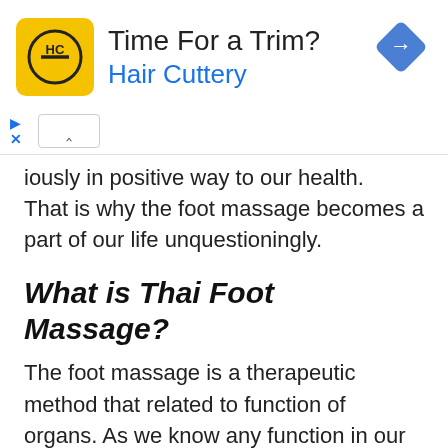[Figure (other): Advertisement banner for Hair Cuttery with yellow HC logo, text 'Time For a Trim?' and 'Hair Cuttery' in blue, blue diamond navigation icon on right, play and close controls on left]
iously in positive way to our health. That is why the foot massage becomes a part of our life unquestioningly.
What is Thai Foot Massage?
The foot massage is a therapeutic method that related to function of organs. As we know any function in our body is very complex and every single one is cross-link astonishingly. Any pressure in some part of the body affect to some sickness that is